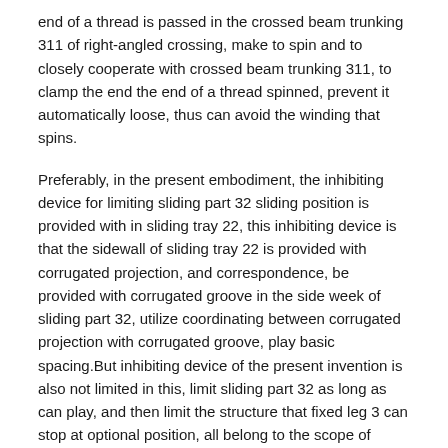end of a thread is passed in the crossed beam trunking 311 of right-angled crossing, make to spin and to closely cooperate with crossed beam trunking 311, to clamp the end the end of a thread spinned, prevent it automatically loose, thus can avoid the winding that spins.
Preferably, in the present embodiment, the inhibiting device for limiting sliding part 32 sliding position is provided with in sliding tray 22, this inhibiting device is that the sidewall of sliding tray 22 is provided with corrugated projection, and correspondence, be provided with corrugated groove in the side week of sliding part 32, utilize coordinating between corrugated projection with corrugated groove, play basic spacing.But inhibiting device of the present invention is also not limited in this, limit sliding part 32 as long as can play, and then limit the structure that fixed leg 3 can stop at optional position, all belong to the scope of protection of the invention.
Preferably, the lateral surface of body 1 is provided with frosted layer, can increases the friction spinned and between body 1 in the early stage during coiling, the head end the end of a thread being conducive to spinning stably